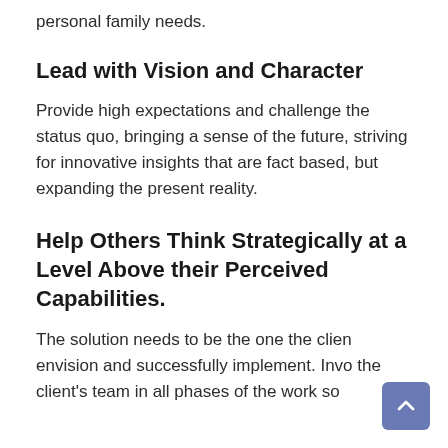personal family needs.
Lead with Vision and Character
Provide high expectations and challenge the status quo, bringing a sense of the future, striving for innovative insights that are fact based, but expanding the present reality.
Help Others Think Strategically at a Level Above their Perceived Capabilities.
The solution needs to be the one the client envision and successfully implement. Involve the client's team in all phases of the work so